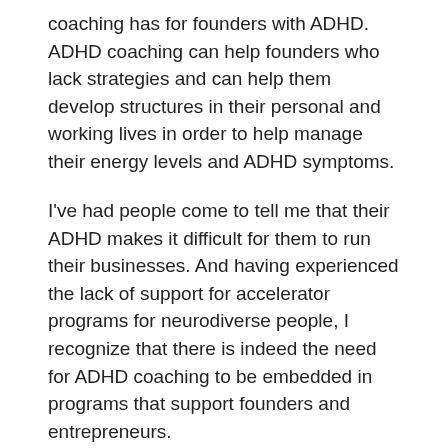coaching has for founders with ADHD. ADHD coaching can help founders who lack strategies and can help them develop structures in their personal and working lives in order to help manage their energy levels and ADHD symptoms.
I've had people come to tell me that their ADHD makes it difficult for them to run their businesses. And having experienced the lack of support for accelerator programs for neurodiverse people, I recognize that there is indeed the need for ADHD coaching to be embedded in programs that support founders and entrepreneurs.